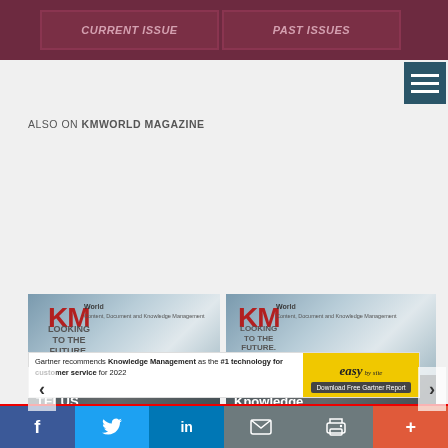[Figure (screenshot): KMWorld Magazine website header with dark red background showing CURRENT ISSUE and PAST ISSUES navigation buttons, and a hamburger menu icon]
ALSO ON KMWORLD MAGAZINE
[Figure (screenshot): KMWorld magazine cover carousel showing two article cards: 'TELUS International partners with ...' (months ago, 1 comment) and 'Knowledge sharing and collaboration ...' (5 months ago, 1 comment), with left/right navigation arrows]
[Figure (screenshot): Advertisement banner: Gartner recommends Knowledge Management as the #1 technology for customer service for 2022. Easy button to Download Free Gartner Report.]
[Figure (screenshot): Social media share footer bar with Facebook, Twitter, LinkedIn, Email, Print, and More (+) buttons]